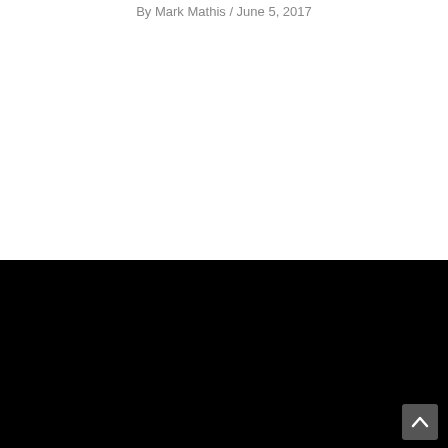By Mark Mathis / June 5, 2017
CEDAR FALLS
6711 Chancellor Dr.
Cedar Falls, IA 50613
319.268.9151